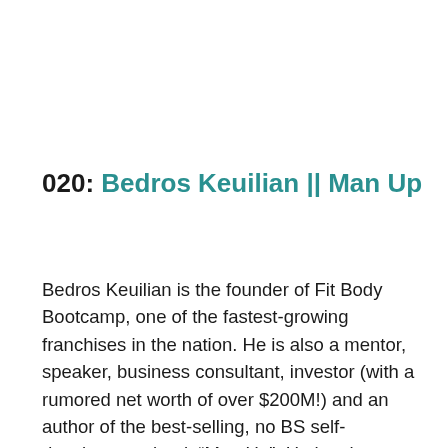020: Bedros Keuilian || Man Up
Bedros Keuilian is the founder of Fit Body Bootcamp, one of the fastest-growing franchises in the nation. He is also a mentor, speaker, business consultant, investor (with a rumored net worth of over $200M!) and an author of the best-selling, no BS self-development book “Man Up”. He has been featured in Inc, New York Times, Wall Street Journal, ABC, NBC, and many more. You don’t